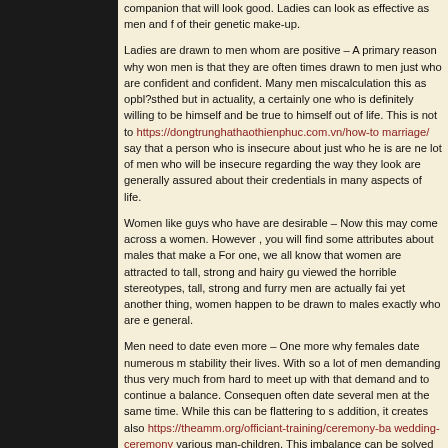companion that will look good. Ladies can look as effective as men and f of their genetic make-up.
Ladies are drawn to men whom are positive – A primary reason why won men is that they are often times drawn to men just who are confident and confident. Many men miscalculation this as opbl?sthed but in actuality, a certainly one who is definitely willing to be himself and be true to himself out of life. This is not to https://dongtrunghathaothienphuc.com.vn/how-to marriage/ say that a person who is insecure about just who he is are ne lot of men who will be insecure regarding the way they look are generally assured about their credentials in many aspects of life.
Women like guys who have are desirable – Now this may come across a women. However , you will find some attributes about males that make a For one, we all know that women are attracted to tall, strong and hairy gu viewed the horrible stereotypes, tall, strong and furry men are actually fai yet another thing, women happen to be drawn to males exactly who are e general.
Men need to date even more – One more why females date numerous m stability their lives. With so a lot of men demanding thus very much from hard to meet up with that demand and to continue a balance. Consequen often date several men at the same time. While this can be flattering to s addition, it creates also https://theamm.org/officiant-training/ceremony-ba wedding-ceremony various man-children. This imbalance can be solved just want to time frame one woman with the end of the day that girl deci